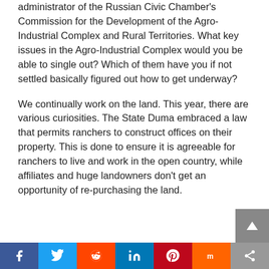administrator of the Russian Civic Chamber's Commission for the Development of the Agro-Industrial Complex and Rural Territories. What key issues in the Agro-Industrial Complex would you be able to single out? Which of them have you if not settled basically figured out how to get underway?
We continually work on the land. This year, there are various curiosities. The State Duma embraced a law that permits ranchers to construct offices on their property. This is done to ensure it is agreeable for ranchers to live and work in the open country, while affiliates and huge landowners don't get an opportunity of re-purchasing the land.